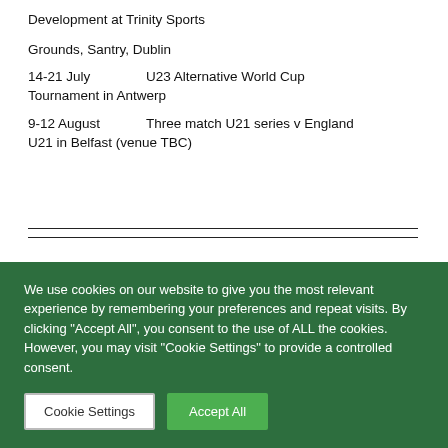Development at Trinity Sports
Grounds, Santry, Dublin
14-21 July    U23 Alternative World Cup Tournament in Antwerp
9-12 August    Three match U21 series v England U21 in Belfast (venue TBC)
We use cookies on our website to give you the most relevant experience by remembering your preferences and repeat visits. By clicking "Accept All", you consent to the use of ALL the cookies. However, you may visit "Cookie Settings" to provide a controlled consent.